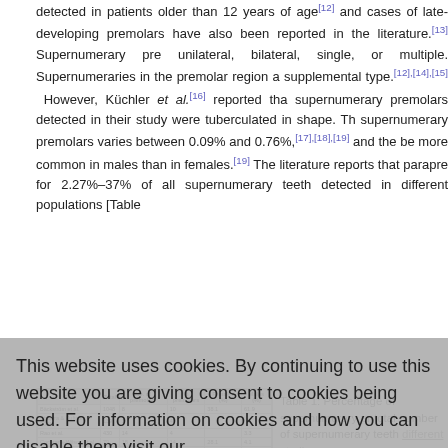detected in patients older than 12 years of age[12] and cases of late-developing premolars have also been reported in the literature.[13] Supernumerary pre unilateral, bilateral, single, or multiple. Supernumeraries in the premolar region a supplemental type.[12],[14],[15] However, Küchler et al.[16] reported tha supernumerary premolars detected in their study were tuberculated in shape. Th supernumerary premolars varies between 0.09% and 0.76%,[17],[18],[19] and the be more common in males than in females.[19] The literature reports that parapre for 2.27%–37% of all supernumerary teeth detected in different populations [Table
| Ref | Total | No. of premolars | % premolars | Females (%) | Males (%) |
| --- | --- | --- | --- | --- | --- |
| Bäckström et al. | 1048 | 8 | 10 | 38.1 | 61.9 |
| Shapira & Kuftinec 2001 | 139 | 1 | 4 |  |  |
| Rao et al. | 430 | 14 | 4 |  | 3.3 |
| Cochrane-Wilson et al. | 79 | 18 | 14 | 28.1 | 4.1 |
| Yusof et al. | 1,100 | 92 |  | 38.7 | 1.39 |
Table 1: Percentage of supernumerary pr total number of supernumerary teeth different studies
This website uses cookies. By continuing to use this website you are giving consent to cookies being used. For information on cookies and how you can disable them visit our
Privacy and Cookie Policy.
AGREE & PROCEED
Supernumerary premolars occur more frequently in the mandible than in the max show that 57% more of all detected supernumerary premolars from various mandibular. [Tab [23] Moreover, they are the supernumerary teeth in the mandible.[20],[21],[24] Yet, the prevalence of super occurring in the mandibular premolar region is quite low.[25] The orientation of a